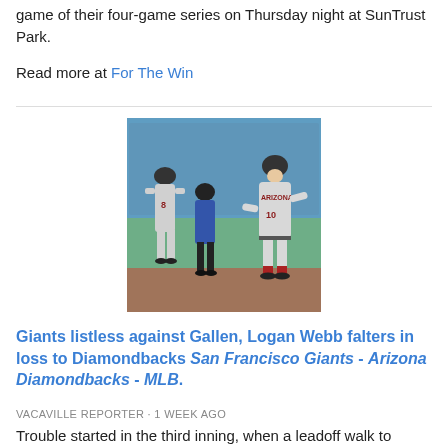game of their four-game series on Thursday night at SunTrust Park.
Read more at For The Win
[Figure (photo): Two Arizona Diamondbacks players in grey uniforms on a baseball field, one running toward home plate with arms extended, the other with back turned; an umpire in blue is visible in the background with a packed stadium crowd.]
Giants listless against Gallen, Logan Webb falters in loss to Diamondbacks San Francisco Giants - Arizona Diamondbacks - MLB.
VACAVILLE REPORTER · 1 WEEK AGO
Trouble started in the third inning, when a leadoff walk to